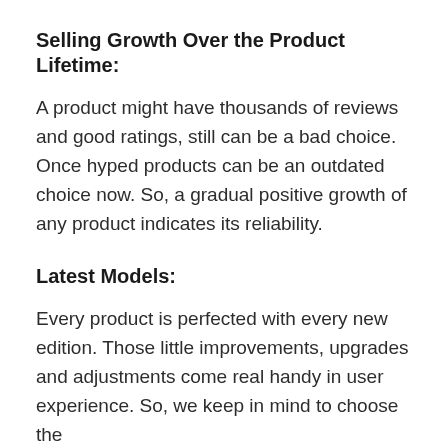Selling Growth Over the Product Lifetime:
A product might have thousands of reviews and good ratings, still can be a bad choice. Once hyped products can be an outdated choice now. So, a gradual positive growth of any product indicates its reliability.
Latest Models:
Every product is perfected with every new edition. Those little improvements, upgrades and adjustments come real handy in user experience. So, we keep in mind to choose the